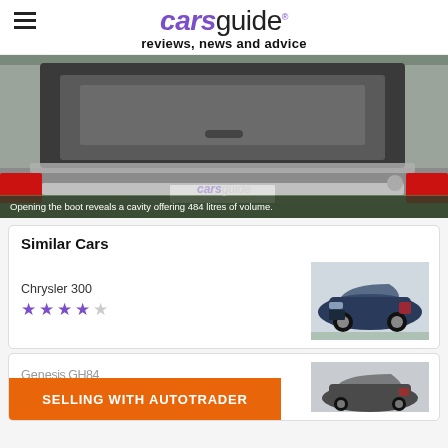carsguide reviews, news and advice
[Figure (photo): Open car boot/trunk showing interior cargo cavity. Caption reads: Opening the boot reveals a cavity offering 484 litres of volume.]
Opening the boot reveals a cavity offering 484 litres of volume.
Similar Cars
Chrysler 300 — 4 out of 5 stars
[Figure (photo): Chrysler 300 car thumbnail image]
Genesis GH84 — 2 out of 5 stars
[Figure (photo): Genesis car thumbnail image]
SELLING WITH AUTOTRADER